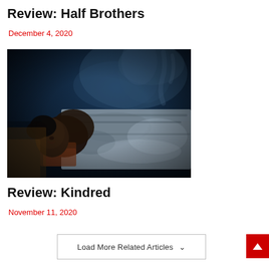Review: Half Brothers
December 4, 2020
[Figure (photo): Dark cinematic still from Half Brothers: a person lying in bed covered partially by a blanket, dramatic dark blue lighting with smoke or haze in the background]
Review: Kindred
November 11, 2020
Load More Related Articles ∨